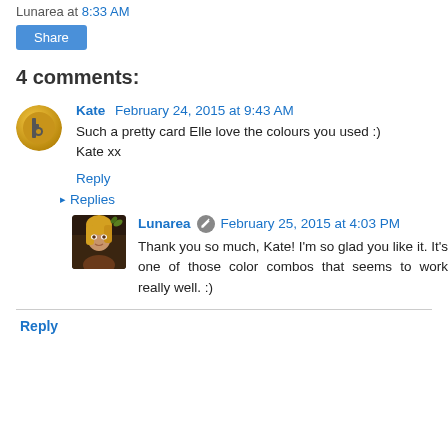Lunarea at 8:33 AM
Share
4 comments:
Kate  February 24, 2015 at 9:43 AM
Such a pretty card Elle love the colours you used :) Kate xx
Reply
▸ Replies
Lunarea  February 25, 2015 at 4:03 PM
Thank you so much, Kate! I'm so glad you like it. It's one of those color combos that seems to work really well. :)
Reply